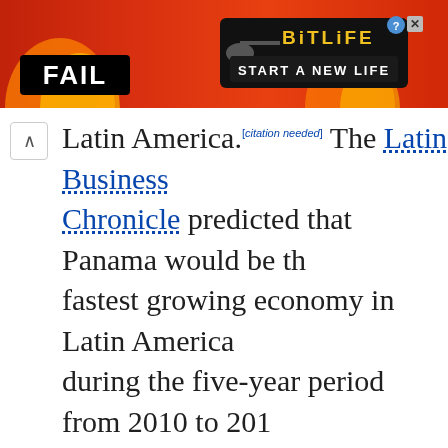[Figure (photo): Advertisement banner for BitLife mobile game with 'FAIL' text, cartoon character, and 'START A NEW LIFE' tagline on red/orange background]
Latin America.[citation needed] The Latin Business Chronicle predicted that Panama would be the fastest growing economy in Latin America during the five-year period from 2010 to 2014, matching Brazil's 10 percent rate.[74]
The expansion project on the Panama Canal was expected to boost and extend economic expansion for some time.[75] Panama also signed the Panama–United States Trade Promotion